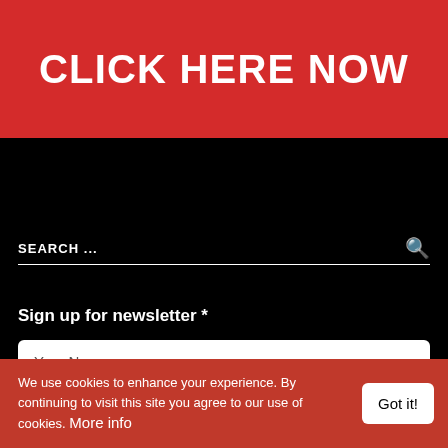CLICK HERE NOW
SEARCH ...
Sign up for newsletter *
Your Name
Your email address
We use cookies to enhance your experience. By continuing to visit this site you agree to our use of cookies. More info
Got it!